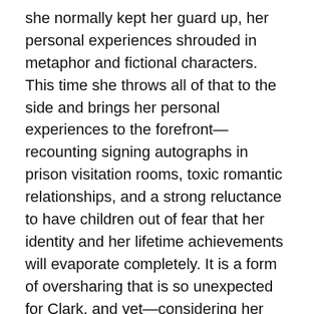she normally kept her guard up, her personal experiences shrouded in metaphor and fictional characters. This time she throws all of that to the side and brings her personal experiences to the forefront—recounting signing autographs in prison visitation rooms, toxic romantic relationships, and a strong reluctance to have children out of fear that her identity and her lifetime achievements will evaporate completely. It is a form of oversharing that is so unexpected for Clark, and yet—considering her constant willingness to reinvent herself and venture into unexplored territories—it makes perfect sense.
This album is a very sharp left turn, yet it's still